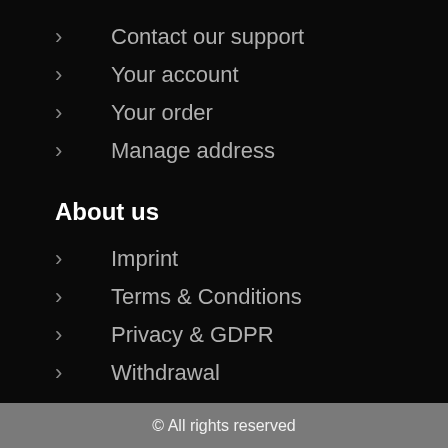Contact our support
Your account
Your order
Manage address
About us
Imprint
Terms & Conditions
Privacy & GDPR
Withdrawal
© All rights reserved